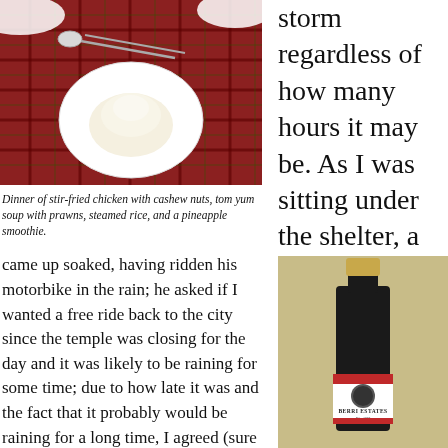[Figure (photo): Photo of a dinner spread on a plaid red tablecloth: a white plate with steamed rice, spoons, and other dishes]
Dinner of stir-fried chicken with cashew nuts, tom yum soup with prawns, steamed rice, and a pineapple smoothie.
storm regardless of how many hours it may be. As I was sitting under the shelter, a large Thai man
came up soaked, having ridden his motorbike in the rain; he asked if I wanted a free ride back to the city since the temple was closing for the day and it was likely to be raining for some time; due to how late it was and the fact that it probably would be raining for a long time, I agreed (sure it was raining heavily, the roads were slick, traffic was busy, and neither of had helmets or eye protection, but what the fuck, I wanted to
[Figure (photo): Photo of a dark wine bottle with a white label reading 'Berri Estates Bin 777' on an olive/tan background]